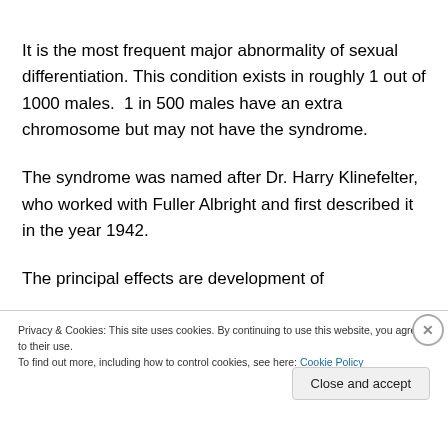It is the most frequent major abnormality of sexual differentiation. This condition exists in roughly 1 out of 1000 males.  1 in 500 males have an extra chromosome but may not have the syndrome.
The syndrome was named after Dr. Harry Klinefelter, who worked with Fuller Albright and first described it in the year 1942.
The principal effects are development of
Privacy & Cookies: This site uses cookies. By continuing to use this website, you agree to their use.
To find out more, including how to control cookies, see here: Cookie Policy